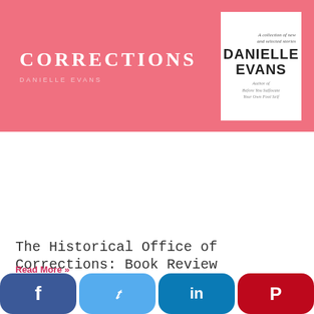[Figure (illustration): Book cover for 'The Historical Office of Corrections' by Danielle Evans. Pink/salmon background with bold white uppercase title text on the left, and a white inset panel on the right showing the author name DANIELLE EVANS in large bold black text with small decorative script text above and italic tagline text below.]
The Historical Office of Corrections: Book Review
Read More »